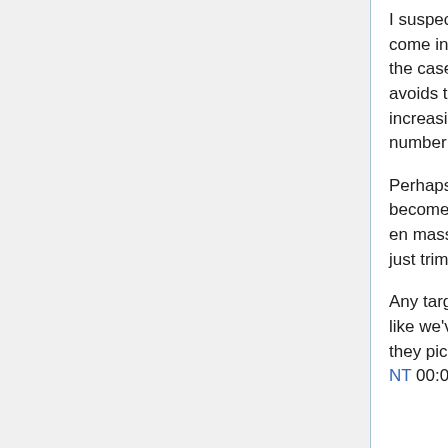I suspect that often banned spammers will simply come in with the same junk from another IP, and in the case of talk:main a daily trim to remove spam avoids the relatively large workload of banning an increasingly large number of spammers. And the number may just keep increasing.
Perhaps between the 2 approaches life will become easier: ban those that are easily banned en masse, using the methods you describe, and just trim the ones that get through that net.
Any targeted site needs a honeypot, and it looks like we've got one already working. Not sure why they pick it but they do, and thats good enough. NT 00:02, 1 November 2007 (GMT)